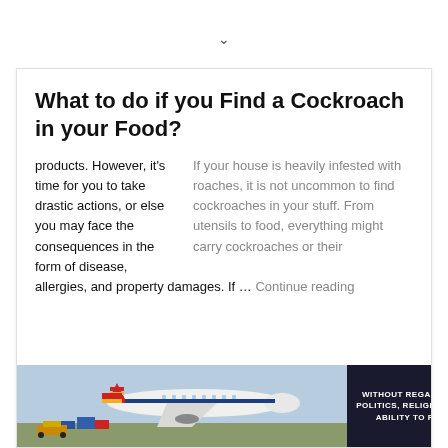ˇ
What to do if you Find a Cockroach in your Food?
If your house is heavily infested with roaches, it is not uncommon to find cockroaches in your stuff. From utensils to food, everything might carry cockroaches or their products. However, it's time for you to take drastic actions, or else you may face the consequences in the form of disease, allergies, and property damages. If … Continue reading
[Figure (photo): Advertisement banner showing an airplane being loaded with cargo, with a dark sidebar reading 'WITHOUT REGARD TO POLITICS, RELIGION, OR ABILITY TO PAY']